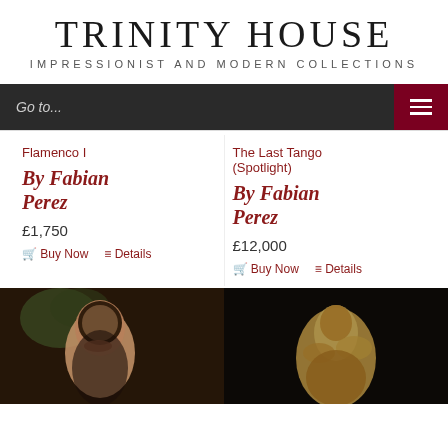TRINITY HOUSE
IMPRESSIONIST AND MODERN COLLECTIONS
Go to...
Flamenco I
by Fabian Perez
£1,750
Buy Now   Details
The Last Tango (Spotlight)
by Fabian Perez
£12,000
Buy Now   Details
[Figure (photo): Painting of a woman with dark hair, posed thoughtfully with hand near face, dark background with some greenery]
[Figure (photo): Painting of a golden sculptural figure against a dark background]